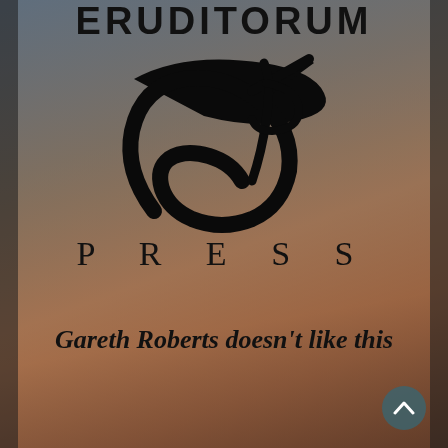ERUDITORUM
[Figure (logo): Eruditorum Press logo: a stylized cursive 'EP' monogram in black with calligraphic swooping strokes]
PRESS
Gareth Roberts doesn’t like this